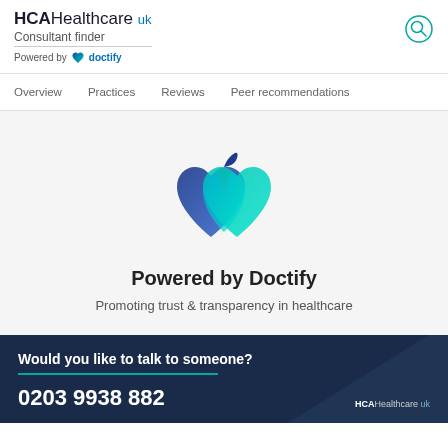HCAHealthcare uk
Consultant finder
Powered by doctify
Overview   Practices   Reviews   Peer recommendations
[Figure (logo): Doctify logo — a stylized apple/heart shape made of overlapping blue and teal gradient heart shapes]
Powered by Doctify
Promoting trust & transparency in healthcare
Would you like to talk to someone?
0203 9938 882
HCAHealthcare uk